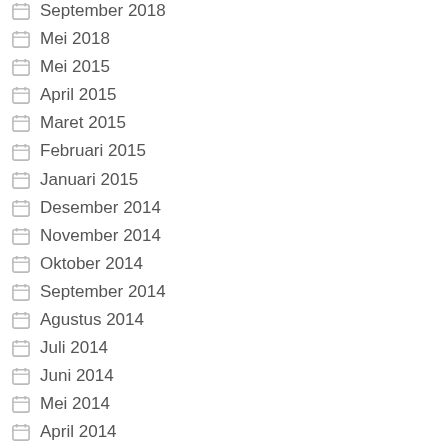September 2018
Mei 2018
Mei 2015
April 2015
Maret 2015
Februari 2015
Januari 2015
Desember 2014
November 2014
Oktober 2014
September 2014
Agustus 2014
Juli 2014
Juni 2014
Mei 2014
April 2014
Maret 2014
Februari 2014
Januari 2014
Desember 2013
November 2013